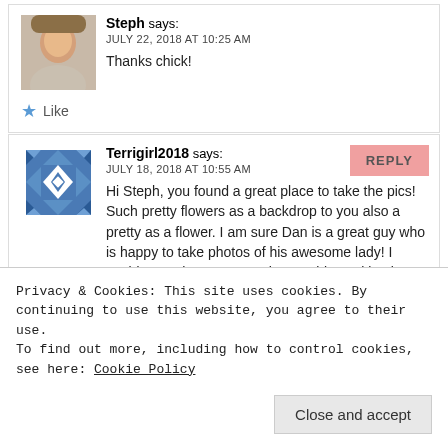[Figure (photo): Profile photo of Steph - woman's face]
Steph says:
JULY 22, 2018 AT 10:25 AM
Thanks chick!
Like
[Figure (illustration): Blue geometric quilt-pattern avatar for Terrigirl2018]
Terrigirl2018 says:
JULY 18, 2018 AT 10:55 AM
Hi Steph, you found a great place to take the pics! Such pretty flowers as a backdrop to you also a pretty as a flower. I am sure Dan is a great guy who is happy to take photos of his awesome lady! I could never hate you Steph. Your blog writing is
REPLY
Privacy & Cookies: This site uses cookies. By continuing to use this website, you agree to their use.
To find out more, including how to control cookies, see here: Cookie Policy
Close and accept